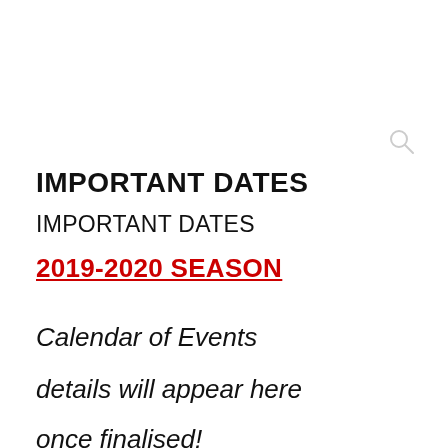IMPORTANT DATES
IMPORTANT DATES
2019-2020 SEASON
Calendar of Events
details will appear here
once finalised!